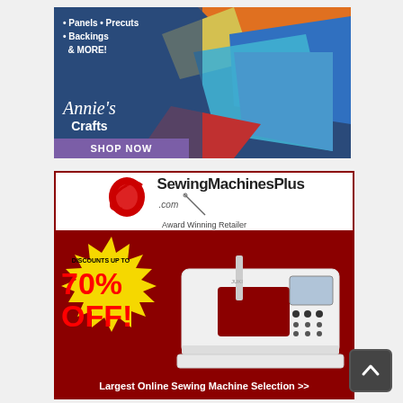[Figure (illustration): Annie's Crafts advertisement banner with dark blue background, colorful quilt fabric pieces, bullet points reading 'Panels • Precuts • Backings & MORE!', Annie's Crafts logo in cursive, and purple 'SHOP NOW' button at bottom.]
[Figure (illustration): SewingMachinesPlus.com advertisement. White header with red thread spool logo and 'SewingMachinesPlus.com - Award Winning Retailer'. Dark red body with yellow starburst badge showing 'DISCOUNTS UP TO 70% OFF!', a Juki sewing machine photo, and footer text 'Largest Online Sewing Machine Selection >>'.]